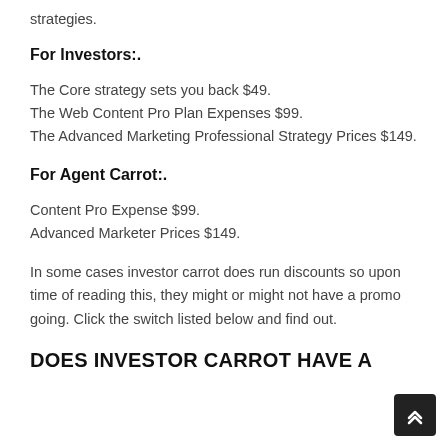strategies.
For Investors:.
The Core strategy sets you back $49.
The Web Content Pro Plan Expenses $99.
The Advanced Marketing Professional Strategy Prices $149.
For Agent Carrot:.
Content Pro Expense $99.
Advanced Marketer Prices $149.
In some cases investor carrot does run discounts so upon time of reading this, they might or might not have a promo going. Click the switch listed below and find out.
DOES INVESTOR CARROT HAVE A